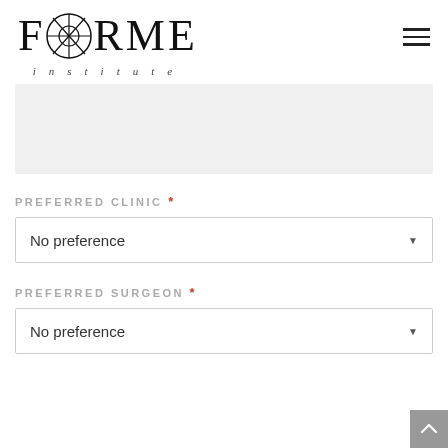[Figure (logo): FORME institute logo with decorative circular motif replacing the O in FORME, with 'institute' in italic lettering below]
[Figure (other): Grey placeholder/image box]
PREFERRED CLINIC *
No preference
PREFERRED SURGEON *
No preference